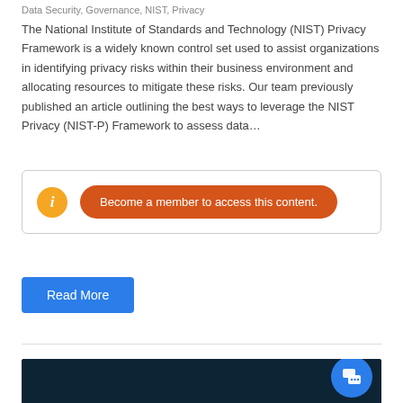Data Security, Governance, NIST, Privacy
The National Institute of Standards and Technology (NIST) Privacy Framework is a widely known control set used to assist organizations in identifying privacy risks within their business environment and allocating resources to mitigate these risks. Our team previously published an article outlining the best ways to leverage the NIST Privacy (NIST-P) Framework to assess data…
Become a member to access this content.
Read More
[Figure (photo): Dark navy/teal background image at bottom of page with a blue chat bubble icon in the lower right corner]